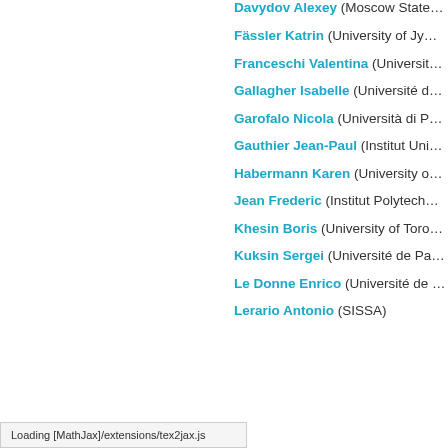Davydov Alexey (Moscow State…
Fässler Katrin (University of Jy…
Franceschi Valentina (Universit…
Gallagher Isabelle (Université d…
Garofalo Nicola (Università di P…
Gauthier Jean-Paul (Institut Uni…
Habermann Karen (University o…
Jean Frederic (Institut Polytech…
Khesin Boris (University of Toro…
Kuksin Sergei (Université de Pa…
Le Donne Enrico (Université de…
Lerario Antonio (SISSA)
Loading [MathJax]/extensions/tex2jax.js